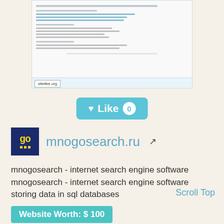[Figure (screenshot): Screenshot of mnogosearch.ru website showing a software download page with version listings and links]
♥ Like 0
mnogosearch.ru
mnogosearch - internet search engine software mnogosearch - internet search engine software storing data in sql databases
Scroll Top
Website Worth: $ 100
Categories: Portal Sites, Search Engines and Portals
Is it similar?
Yes 0
No 0